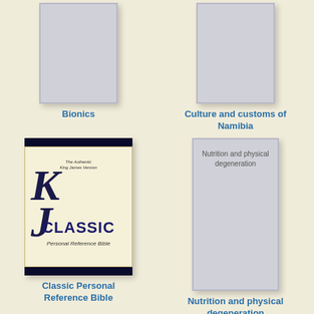[Figure (illustration): Book cover placeholder for Bionics (gray rectangle)]
Bionics
[Figure (illustration): Book cover placeholder for Culture and customs of Namibia (gray rectangle)]
Culture and customs of Namibia
[Figure (photo): Book cover of Classic Personal Reference Bible (KJV Classic, dark navy cover with cream inner page showing KJ letters and CLASSIC Personal Reference Bible text)]
Classic Personal Reference Bible
[Figure (illustration): Book cover placeholder for Nutrition and physical degeneration with text label inside]
Nutrition and physical degeneration